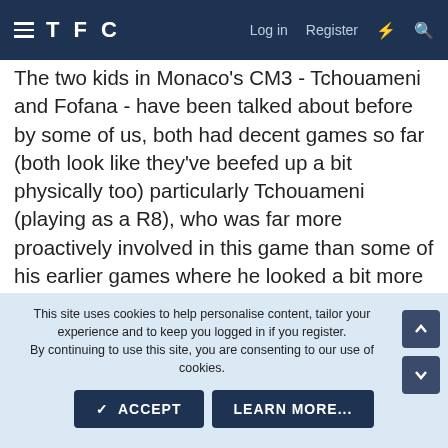TFC  Log in  Register
The two kids in Monaco's CM3 - Tchouameni and Fofana - have been talked about before by some of us, both had decent games so far (both look like they've beefed up a bit physically too) particularly Tchouameni (playing as a R8), who was far more proactively involved in this game than some of his earlier games where he looked a bit more tentative (understandable for a kid getting his first few games I guess), big, strong, athletic but also technically good and worked hard to be involved today.
This site uses cookies to help personalise content, tailor your experience and to keep you logged in if you register.
By continuing to use this site, you are consenting to our use of cookies.